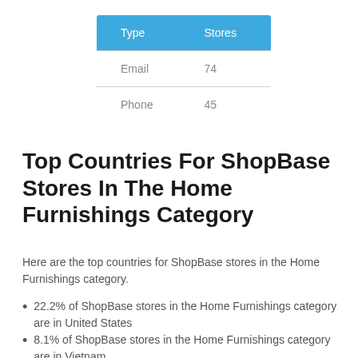| Type | Stores |
| --- | --- |
| Email | 74 |
| Phone | 45 |
Top Countries For ShopBase Stores In The Home Furnishings Category
Here are the top countries for ShopBase stores in the Home Furnishings category.
22.2% of ShopBase stores in the Home Furnishings category are in United States
8.1% of ShopBase stores in the Home Furnishings category are in Vietnam